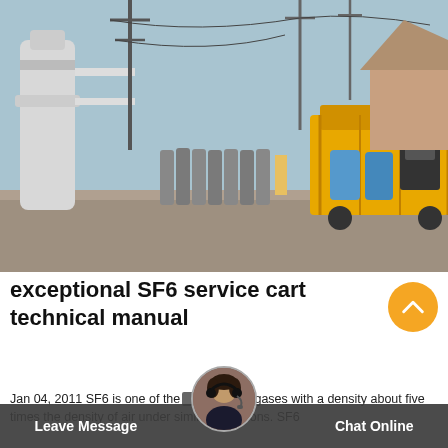[Figure (photo): SF6 gas service cart at an electrical substation. Left side shows large white cylindrical gas vessels and rows of grey gas cylinders on the ground. Right side shows a yellow truck/cart with blue barrels and equipment. Power line towers and utility wires visible in background.]
exceptional SF6 service cart technical manual
Jan 04, 2011 SF6 is one of the best known gases with a density about five times the density of air under similar conditions. SF6
Leave Message
Chat Online